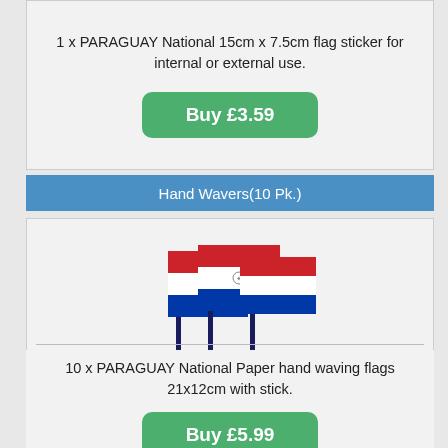1 x PARAGUAY National 15cm x 7.5cm flag sticker for internal or external use.
Buy £3.59
Hand Wavers(10 Pk.)
[Figure (illustration): Three Paraguay national hand waving flags on sticks, fanned out, showing red, white and blue horizontal stripes with emblem.]
£4.99 + VAT
10 x PARAGUAY National Paper hand waving flags 21x12cm with stick.
Buy £5.99